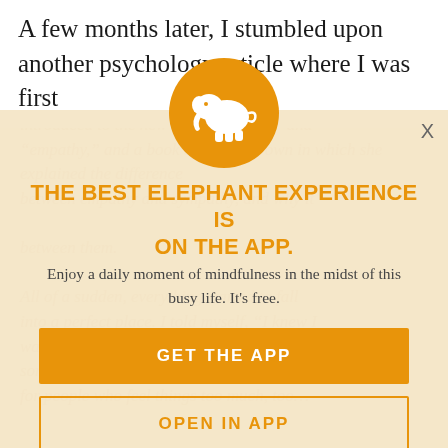A few months later, I stumbled upon another psychology article where I was first
introduced to the new terms “empath” and “empathy,” and a book by Brené Brown in which she explained the difference between empathy and sympathy, and why it matters...between them...All of a sudden, everything started to fall into a perfect place. I told myself, “I knew I wasn’t crazy. I knew there was somewhere someone would have a logical explanation for people who feel things too much, too…”
[Figure (logo): Orange circle with white elephant silhouette logo]
THE BEST ELEPHANT EXPERIENCE IS ON THE APP.
Enjoy a daily moment of mindfulness in the midst of this busy life. It’s free.
GET THE APP
OPEN IN APP